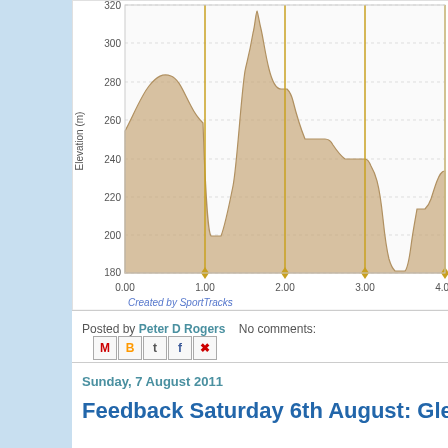[Figure (continuous-plot): Elevation profile chart showing elevation in meters (approx 180-320m) over distance (0.00 to 4.00+). Chart has tan/beige filled area under the curve, golden vertical marker lines at approximately 1.00, 2.00, 3.00, 4.00 with small diamond markers at the bottom. Y-axis labeled 'Elevation (m)' with gridlines at 180, 200, 220, 240, 260, 280, 300, 320. X-axis shows 0.00, 1.00, 2.00, 3.00, 4.00. Created by SportTracks watermark at bottom left.]
Posted by Peter D Rogers   No comments:
Sunday, 7 August 2011
Feedback Saturday 6th August: Gle